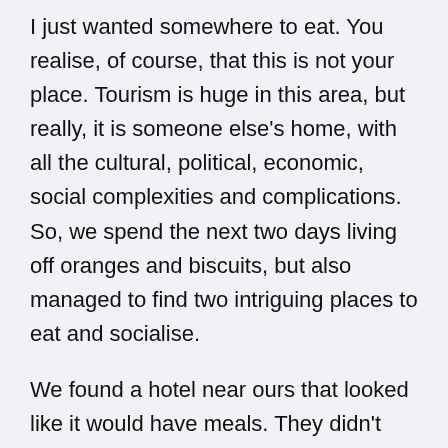I just wanted somewhere to eat.  You realise, of course, that this is not your place.  Tourism is huge in this area, but really, it is someone else's home, with all the cultural, political, economic, social complexities and complications.  So, we spend the next two days living off oranges and biscuits, but also managed to find two intriguing places to eat and socialise.
We found a hotel near ours that looked like it would have meals.  They didn't but, almost whispering, they said they would ring their caterer and he might make us a meal.  While we waited for our order, the young assistant manager of the hotel, who looked late teens or early twenties, told us how he'd been studying marketing, is keen to try to save money so he can go overseas eventually (knowing it may take a decade or so), believes the gods will give you what you dream of if you keep asking.